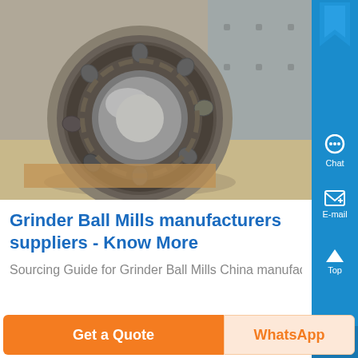[Figure (photo): Close-up photo of a large industrial ball bearing/roller bearing lying on a surface in an industrial setting]
Grinder Ball Mills manufacturers suppliers - Know More
Sourcing Guide for Grinder Ball Mills China manufacturi
Get a Quote
WhatsApp